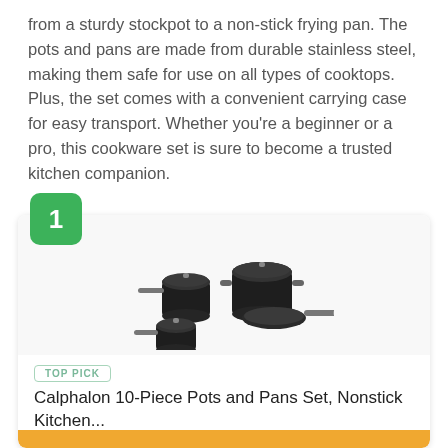from a sturdy stockpot to a non-stick frying pan. The pots and pans are made from durable stainless steel, making them safe for use on all types of cooktops. Plus, the set comes with a convenient carrying case for easy transport. Whether you're a beginner or a pro, this cookware set is sure to become a trusted kitchen companion.
[Figure (photo): Product card showing a Calphalon 10-piece cookware set with a green number badge '1', a TOP PICK label, product image of dark nonstick pots and pans, and product title.]
TOP PICK
Calphalon 10-Piece Pots and Pans Set, Nonstick Kitchen...